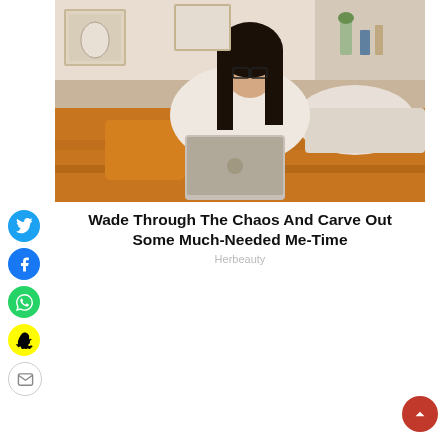[Figure (photo): Young woman with glasses and long dark hair sitting in bed with an orange/mustard blanket, working on a silver MacBook laptop. She is wearing a white/cream knit sweater. Background shows framed pictures, a pegboard with decorative items.]
Wade Through The Chaos And Carve Out Some Much-Needed Me-Time
Herbeauty